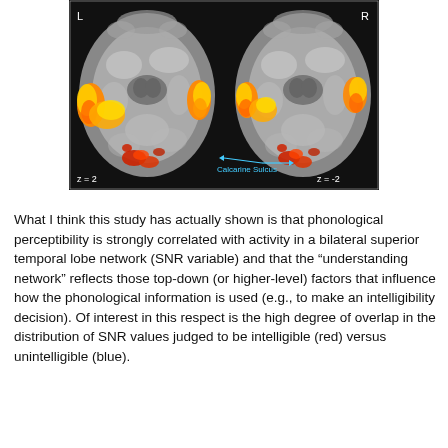[Figure (photo): Brain fMRI axial slices showing bilateral activation (orange/red/yellow regions) overlaid on grayscale brain images. Left slice labeled 'L' and 'z=2', right slice labeled 'R' and 'z=-2'. A cyan arrow points to the 'Calcarine Sulcus' label between the two slices. Activations appear in temporal and occipital regions.]
What I think this study has actually shown is that phonological perceptibility is strongly correlated with activity in a bilateral superior temporal lobe network (SNR variable) and that the “understanding network” reflects those top-down (or higher-level) factors that influence how the phonological information is used (e.g., to make an intelligibility decision). Of interest in this respect is the high degree of overlap in the distribution of SNR values judged to be intelligible (red) versus unintelligible (blue).